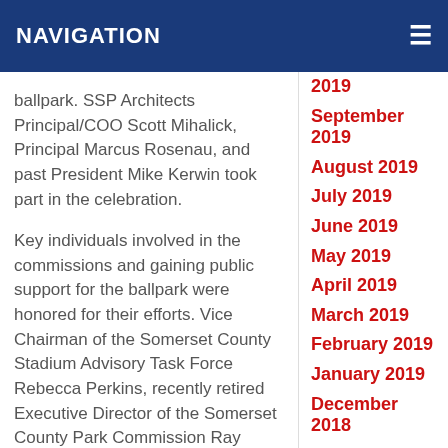NAVIGATION
ballpark. SSP Architects Principal/COO Scott Mihalick, Principal Marcus Rosenau, and past President Mike Kerwin took part in the celebration.
Key individuals involved in the commissions and gaining public support for the ballpark were honored for their efforts. Vice Chairman of the Somerset County Stadium Advisory Task Force Rebecca Perkins, recently retired Executive Director of the Somerset County Park Commission Ray Brown, original Somerset Patriots Director of Public Relations Rich Reitman, and former mayor of Hillsborough Tony Gwiazdowski were
2019
September 2019
August 2019
July 2019
June 2019
May 2019
April 2019
March 2019
February 2019
January 2019
December 2018
November